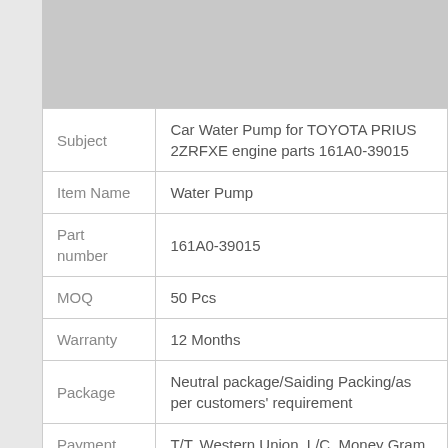[Figure (photo): Gray placeholder image area at top of table]
| Field | Value |
| --- | --- |
| Subject | Car Water Pump for TOYOTA PRIUS 2ZRFXE engine parts 161A0-39015 |
| Item Name | Water Pump |
| Part number | 161A0-39015 |
| MOQ | 50 Pcs |
| Warranty | 12 Months |
| Package | Neutral package/Saiding Packing/as per customers' requirement |
| Payment | T/T, Western Union, L/C, Money Gram |
| Delivery | 20-30 days(Depend on the order |